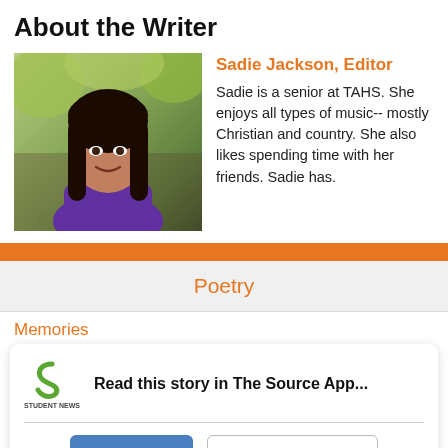About the Writer
[Figure (photo): Portrait photo of Sadie Jackson, a young woman with dark hair, wearing a purple top, standing outdoors in a wooded area with autumn foliage]
Sadie Jackson, Editor
Sadie is a senior at TAHS. She enjoys all types of music-- mostly Christian and country. She also likes spending time with her friends. Sadie has.
Poetry
Memories
Read this story in The Source App...
Open App   Continue in browser